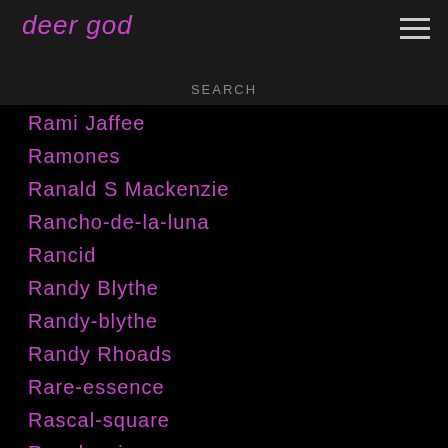deer god
Rami Jaffee
Ramones
Ranald S Mackenzie
Rancho-de-la-luna
Rancid
Randy Blythe
Randy-blythe
Randy Rhoads
Rare-essence
Rascal-square
Raspberries
Rat Scabies
Raveonettes
Ray Capo
Ray-grappone
Ray-johnson
Ray Manzarek